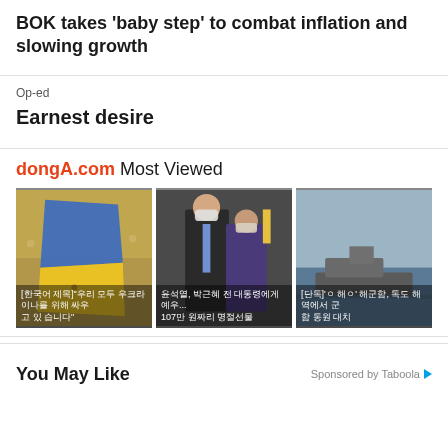BOK takes 'baby step' to combat inflation and slowing growth
Op-ed
Earnest desire
dongA.com Most Viewed
[Figure (photo): Three news thumbnail images in a row: (1) Crowd holding Ukrainian flag colors blue and yellow, with Korean text caption; (2) Two masked officials standing together, with Korean text caption about 107; (3) Partial image of ship/vessel at sea with Korean text caption.]
You May Like
Sponsored by Taboola